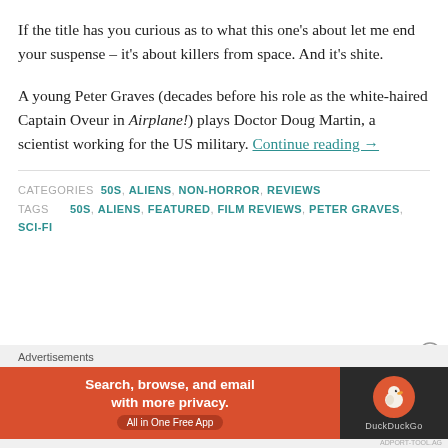If the title has you curious as to what this one's about let me end your suspense – it's about killers from space. And it's shite.
A young Peter Graves (decades before his role as the white-haired Captain Oveur in Airplane!) plays Doctor Doug Martin, a scientist working for the US military. Continue reading →
CATEGORIES  50S , ALIENS , NON-HORROR , REVIEWS
TAGS  50S , ALIENS , FEATURED , FILM REVIEWS , PETER GRAVES , SCI-FI
Advertisements
[Figure (screenshot): DuckDuckGo advertisement banner: orange section with text 'Search, browse, and email with more privacy. All in One Free App' and dark section with DuckDuckGo duck logo]